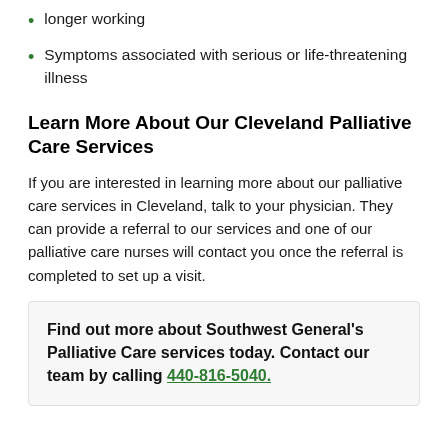longer working
Symptoms associated with serious or life-threatening illness
Learn More About Our Cleveland Palliative Care Services
If you are interested in learning more about our palliative care services in Cleveland, talk to your physician. They can provide a referral to our services and one of our palliative care nurses will contact you once the referral is completed to set up a visit.
Find out more about Southwest General's Palliative Care services today. Contact our team by calling 440-816-5040.